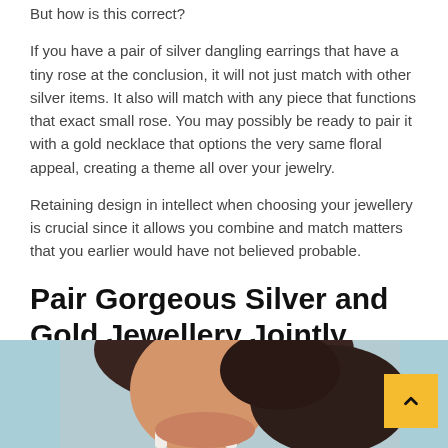But how is this correct?
If you have a pair of silver dangling earrings that have a tiny rose at the conclusion, it will not just match with other silver items. It also will match with any piece that functions that exact small rose. You may possibly be ready to pair it with a gold necklace that options the very same floral appeal, creating a theme all over your jewelry.
Retaining design in intellect when choosing your jewellery is crucial since it allows you combine and match matters that you earlier would have not believed probable.
Pair Gorgeous Silver and Gold Jewellery Jointly Now
[Figure (photo): Woman with dark hair, wearing white straps, photographed from shoulders up against a light blue background]